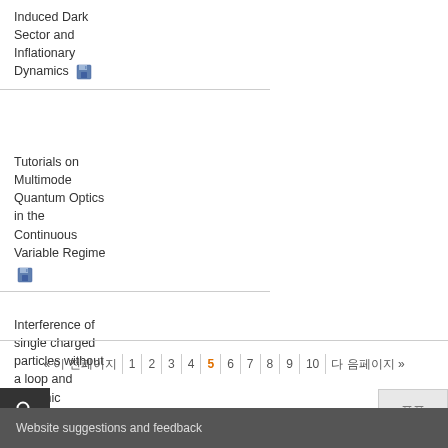Induced Dark Sector and Inflationary Dynamics
Tutorials on Multimode Quantum Optics in the Continuous Variable Regime
Interference of single charged particles without a loop and dynamic nonlocality
« 이 전페이지  1  2  3  4  5  6  7  8  9  10  다 음페이지 »
Website suggestions and feedback